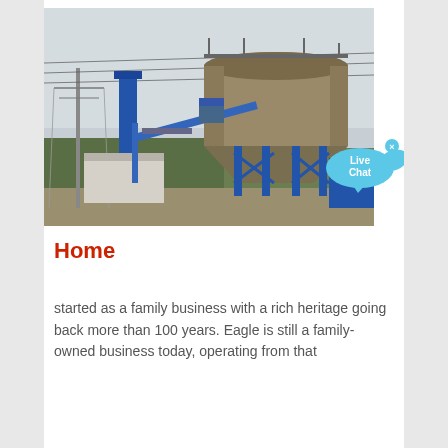[Figure (photo): Industrial facility showing a large silo/tank structure supported by blue steel frame legs, with conveyor equipment and industrial buildings in the background. Power lines visible. Outdoor setting.]
Home
started as a family business with a rich heritage going back more than 100 years. Eagle is still a family-owned business today, operating from that